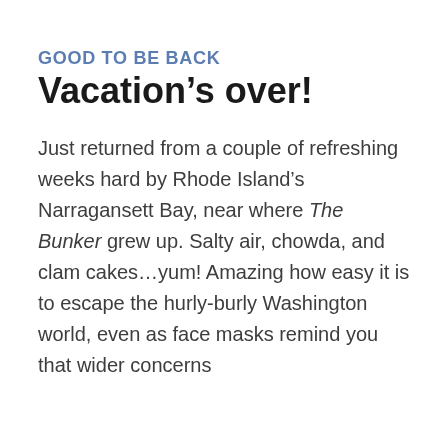GOOD TO BE BACK
Vacation's over!
Just returned from a couple of refreshing weeks hard by Rhode Island's Narragansett Bay, near where The Bunker grew up. Salty air, chowda, and clam cakes…yum! Amazing how easy it is to escape the hurly-burly Washington world, even as face masks remind you that wider concerns